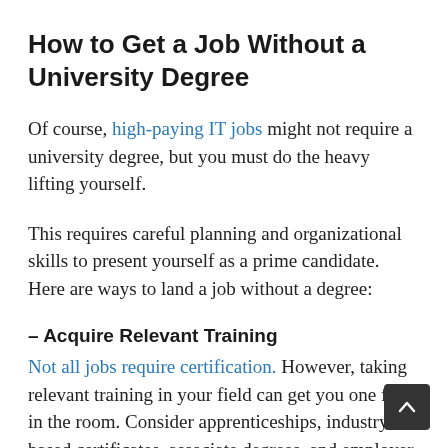How to Get a Job Without a University Degree
Of course, high-paying IT jobs might not require a university degree, but you must do the heavy lifting yourself.
This requires careful planning and organizational skills to present yourself as a prime candidate. Here are ways to land a job without a degree:
– Acquire Relevant Training
Not all jobs require certification. However, taking relevant training in your field can get you one foot in the room. Consider apprenticeships, industry-based certificates, associate degrees, and employer-based